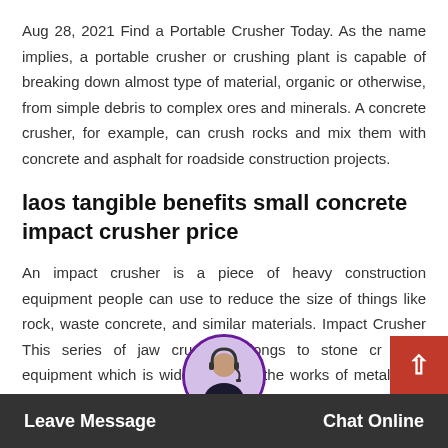Aug 28, 2021 Find a Portable Crusher Today. As the name implies, a portable crusher or crushing plant is capable of breaking down almost type of material, organic or otherwise, from simple debris to complex ores and minerals. A concrete crusher, for example, can crush rocks and mix them with concrete and asphalt for roadside construction projects.
laos tangible benefits small concrete impact crusher price
An impact crusher is a piece of heavy construction equipment people can use to reduce the size of things like rock, waste concrete, and similar materials. Impact Crusher This series of jaw crusher belongs to stone crushing equipment which is widely used in the works of metallurgy, mining, cement, chemistry, refractory and ceramics as well
Leave Message   Chat Online